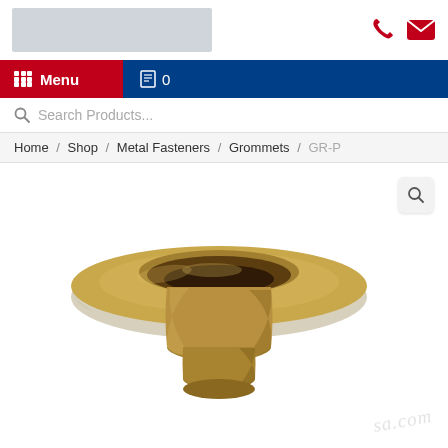[Figure (screenshot): Website header with logo placeholder (gray rectangle) and phone/mail icons in red on the right]
Menu  0
Search Products...
Home / Shop / Metal Fasteners / Grommets / GR-P
[Figure (photo): Gold/brass colored grommet (metal fastener) shown from a 3/4 top-down angle, with wide flat flange and cylindrical barrel, on white background. Watermark 'sa.com' visible at bottom right.]